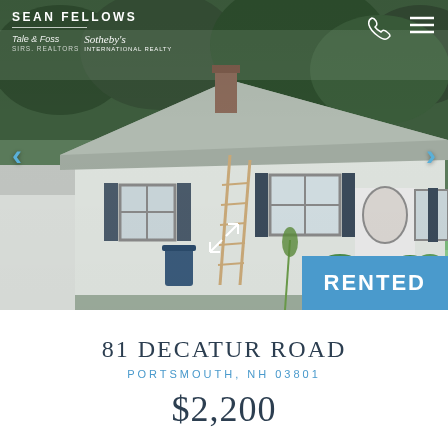[Figure (photo): Exterior photo of a single-story white clapboard house with gray roof, dark shutters, oval front door detail, front lawn with shrubs, and driveway. Navigation arrows on sides. Header overlay with Sean Fellows / Tale & Foss / Sotheby's branding. RENTED badge in bottom-right corner.]
81 DECATUR ROAD
PORTSMOUTH, NH 03801
$2,200